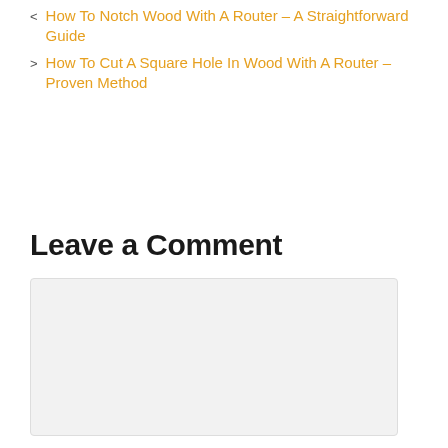< How To Notch Wood With A Router – A Straightforward Guide
> How To Cut A Square Hole In Wood With A Router – Proven Method
Leave a Comment